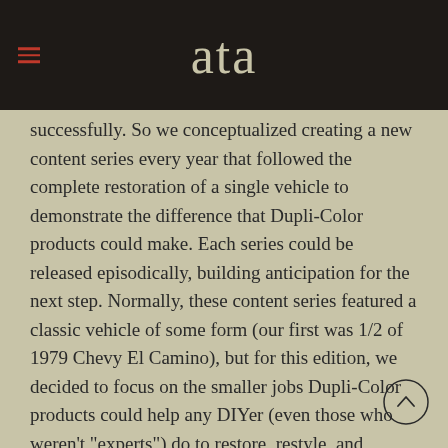ata
successfully. So we conceptualized creating a new content series every year that followed the complete restoration of a single vehicle to demonstrate the difference that Dupli-Color products could make. Each series could be released episodically, building anticipation for the next step. Normally, these content series featured a classic vehicle of some form (our first was 1/2 of 1979 Chevy El Camino), but for this edition, we decided to focus on the smaller jobs Dupli-Color products could help any DIYer (even those who weren't "experts") do to restore, restyle, and protect the cars they drive every day.